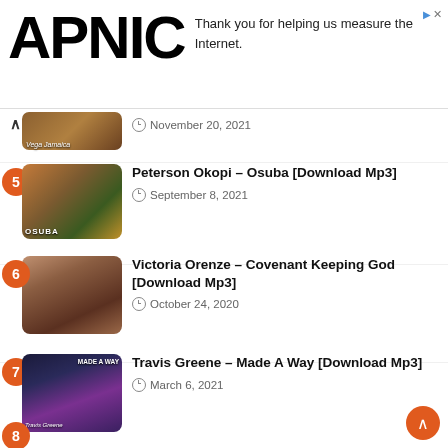[Figure (logo): APNIC logo in large bold black text]
Thank you for helping us measure the Internet.
[Figure (photo): Thumbnail for Peterson Okopi Osuba - person with colorful background]
5 Peterson Okopi – Osuba [Download Mp3]
September 8, 2021
[Figure (photo): Thumbnail for Victoria Orenze - woman in brown jacket]
6 Victoria Orenze – Covenant Keeping God [Download Mp3]
October 24, 2020
[Figure (photo): Thumbnail for Travis Greene Made A Way - performer on stage with purple lights]
7 Travis Greene – Made A Way [Download Mp3]
March 6, 2021
[Figure (photo): Thumbnail for Prospa Ochimana Out Of My Belly - performers on stage with blue lighting, BELLY text]
8 Prospa Ochimana ft. Theophilus Sunday Moses Akoh – Out Of My Belly (Live) [Download Mp3]
August 16, 2022